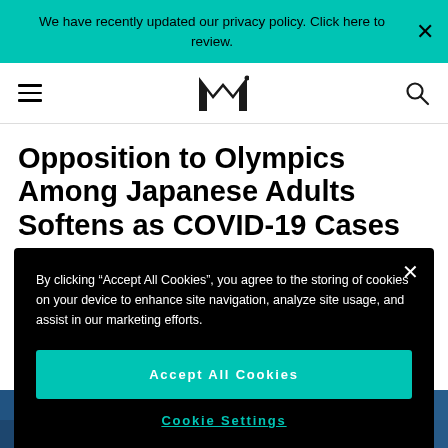We have recently updated our privacy policy. Click here to review.
[Figure (logo): MK brand logo navigation bar with hamburger menu and search icon]
Opposition to Olympics Among Japanese Adults Softens as COVID-19 Cases
By clicking “Accept All Cookies”, you agree to the storing of cookies on your device to enhance site navigation, analyze site usage, and assist in our marketing efforts.
Accept All Cookies
Cookie Settings